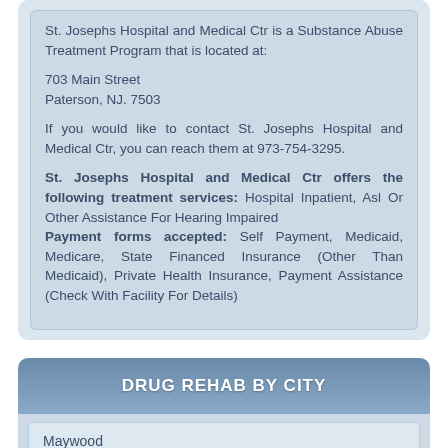St. Josephs Hospital and Medical Ctr is a Substance Abuse Treatment Program that is located at:
703 Main Street
Paterson, NJ. 7503
If you would like to contact St. Josephs Hospital and Medical Ctr, you can reach them at 973-754-3295.
St. Josephs Hospital and Medical Ctr offers the following treatment services: Hospital Inpatient, Asl Or Other Assistance For Hearing Impaired
Payment forms accepted: Self Payment, Medicaid, Medicare, State Financed Insurance (Other Than Medicaid), Private Health Insurance, Payment Assistance (Check With Facility For Details)
DRUG REHAB BY CITY
Maywood